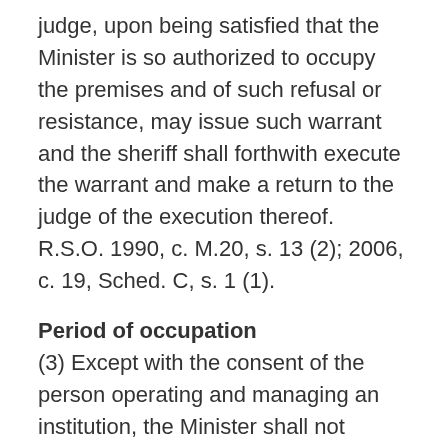judge, upon being satisfied that the Minister is so authorized to occupy the premises and of such refusal or resistance, may issue such warrant and the sheriff shall forthwith execute the warrant and make a return to the judge of the execution thereof.  R.S.O. 1990, c. M.20, s. 13 (2); 2006, c. 19, Sched. C, s. 1 (1).
Period of occupation
(3) Except with the consent of the person operating and managing an institution, the Minister shall not occupy and operate or arrange for the occupation and operation of the premises of an institution under subsection (1) for a period longer than a year, but the Lieutenant Governor in Council may from time to time extend such